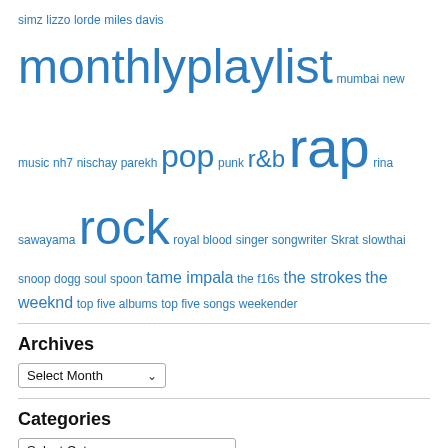simz lizzo lorde miles davis monthlyplaylist mumbai new music nh7 nischay parekh pop punk r&b rap rina sawayama rock royal blood singer songwriter Skrat slowthai snoop dogg soul spoon tame impala the f16s the strokes the weeknd top five albums top five songs weekender
Archives
Select Month
Categories
Select Category
Meta